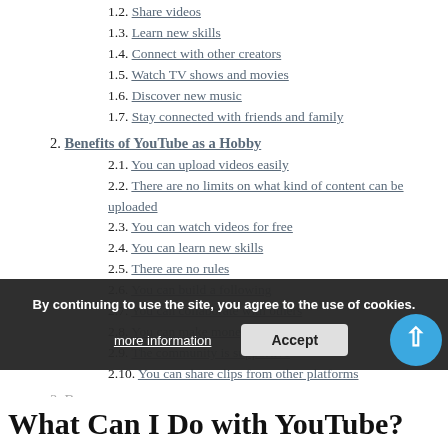1.2. Share videos
1.3. Learn new skills
1.4. Connect with other creators
1.5. Watch TV shows and movies
1.6. Discover new music
1.7. Stay connected with friends and family
2. Benefits of YouTube as a Hobby
2.1. You can upload videos easily
2.2. There are no limits on what kind of content can be uploaded
2.3. You can watch videos for free
2.4. You can learn new skills
2.5. There are no rules
2.6. You can build a following
2.7. You can collaborate with others
2.8. You can make money from your videos
2.9. The community is supportive
2.10. You can share clips from other platforms
3. B...
What Can I Do with YouTube?